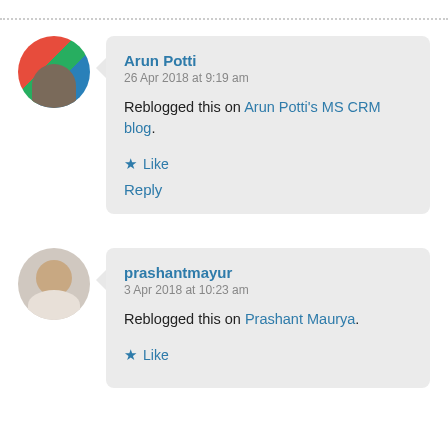[Figure (photo): Circular avatar of Arun Potti with colorful background]
Arun Potti
26 Apr 2018 at 9:19 am
Reblogged this on Arun Potti's MS CRM blog.
★ Like
Reply
[Figure (photo): Circular avatar of prashantmayur, a man with light background]
prashantmayur
3 Apr 2018 at 10:23 am
Reblogged this on Prashant Maurya.
★ Like